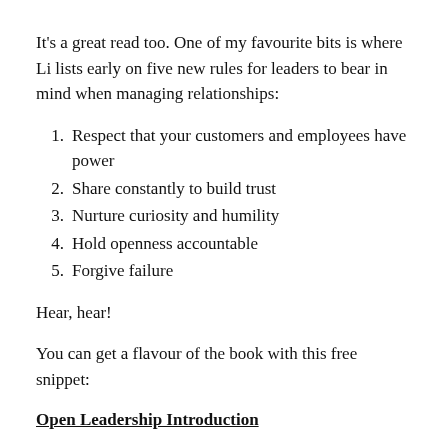It's a great read too. One of my favourite bits is where Li lists early on five new rules for leaders to bear in mind when managing relationships:
1. Respect that your customers and employees have power
2. Share constantly to build trust
3. Nurture curiosity and humility
4. Hold openness accountable
5. Forgive failure
Hear, hear!
You can get a flavour of the book with this free snippet:
Open Leadership Introduction